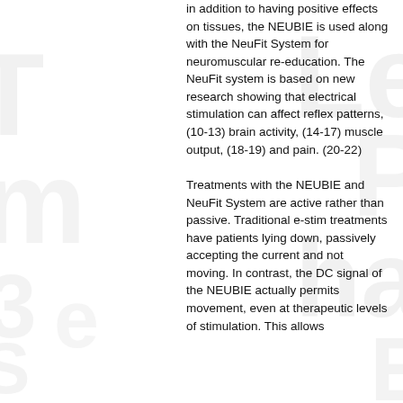In addition to having positive effects on tissues, the NEUBIE is used along with the NeuFit System for neuromuscular re-education. The NeuFit system is based on new research showing that electrical stimulation can affect reflex patterns, (10-13) brain activity, (14-17) muscle output, (18-19) and pain. (20-22)
Treatments with the NEUBIE and NeuFit System are active rather than passive. Traditional e-stim treatments have patients lying down, passively accepting the current and not moving. In contrast, the DC signal of the NEUBIE actually permits movement, even at therapeutic levels of stimulation. This allows